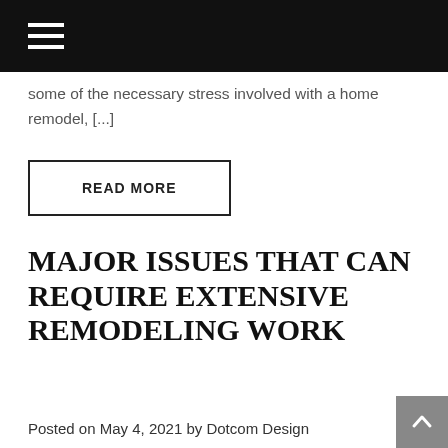≡ (menu icon / navigation bar)
some of the necessary stress involved with a home remodel, [...]
READ MORE
MAJOR ISSUES THAT CAN REQUIRE EXTENSIVE REMODELING WORK
Posted on May 4, 2021 by Dotcom Design
Typically, remodeling is done when you want to make a big change in your home including updates or simply changes styles. However, some remodeling isn't alw...